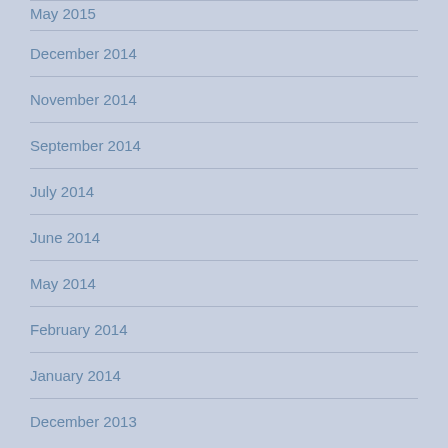May 2015
December 2014
November 2014
September 2014
July 2014
June 2014
May 2014
February 2014
January 2014
December 2013